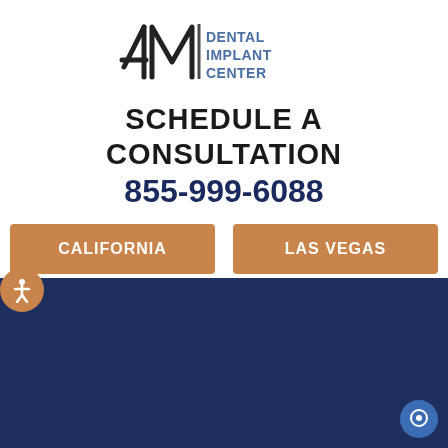[Figure (logo): 4M Dental Implant Center logo with stylized '4M' and text 'DENTAL IMPLANT CENTER']
SCHEDULE A CONSULTATION
855-999-6088
CALIFORNIA
LAS VEGAS
[Figure (illustration): Hamburger menu icon on light gray background]
[Figure (illustration): Navy blue section background (lower half of page)]
[Figure (illustration): Accessibility button (orange circle with person icon) on left edge]
[Figure (illustration): Chat button (blue circle with chat icon) bottom right]